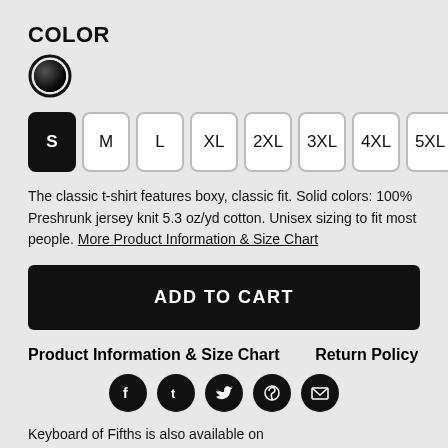COLOR
[Figure (illustration): Black circular color swatch with dark gradient fill and dark ring border]
[Figure (illustration): Size selector buttons: S (selected/black), M, L, XL, 2XL, 3XL, 4XL, 5XL]
The classic t-shirt features boxy, classic fit. Solid colors: 100% Preshrunk jersey knit 5.3 oz/yd cotton. Unisex sizing to fit most people. More Product Information & Size Chart
ADD TO CART
Product Information & Size Chart    Return Policy
[Figure (illustration): Social media icon buttons: Facebook, Tumblr, Twitter, Pinterest, Email]
Keyboard of Fifths is also available on